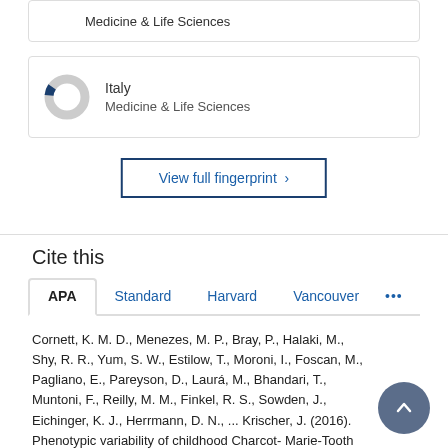Medicine & Life Sciences
[Figure (other): Italy donut chart icon with small blue slice, mostly grey ring]
Italy
Medicine & Life Sciences
View full fingerprint >
Cite this
APA | Standard | Harvard | Vancouver | ...
Cornett, K. M. D., Menezes, M. P., Bray, P., Halaki, M., Shy, R. R., Yum, S. W., Estilow, T., Moroni, I., Foscan, M., Pagliano, E., Pareyson, D., Laurá, M., Bhandari, T., Muntoni, F., Reilly, M. M., Finkel, R. S., Sowden, J., Eichinger, K. J., Herrmann, D. N., ... Krischer, J. (2016). Phenotypic variability of childhood Charcot-Marie-Tooth disease. JAMA Neurology, 73(6), 645-651. https://doi.org/10.1001/jamaneurol.2016.0171